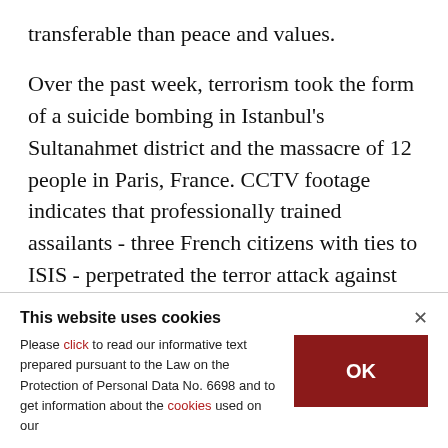transferable than peace and values.
Over the past week, terrorism took the form of a suicide bombing in Istanbul's Sultanahmet district and the massacre of 12 people in Paris, France. CCTV footage indicates that professionally trained assailants - three French citizens with ties to ISIS - perpetrated the terror attack against Charlie Hebdo, a French satirical magazine.
This website uses cookies
Please click to read our informative text prepared pursuant to the Law on the Protection of Personal Data No. 6698 and to get information about the cookies used on our